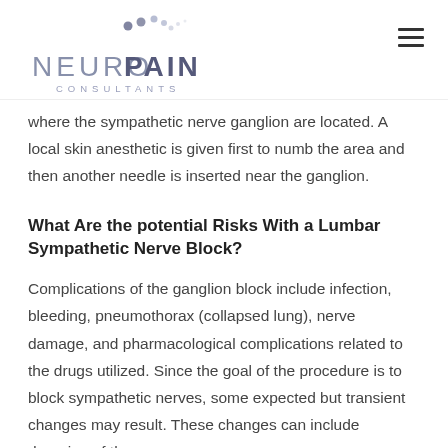[Figure (logo): NeuroPain Consultants logo with stylized dots above the text]
where the sympathetic nerve ganglion are located. A local skin anesthetic is given first to numb the area and then another needle is inserted near the ganglion.
What Are the potential Risks With a Lumbar Sympathetic Nerve Block?
Complications of the ganglion block include infection, bleeding, pneumothorax (collapsed lung), nerve damage, and pharmacological complications related to the drugs utilized. Since the goal of the procedure is to block sympathetic nerves, some expected but transient changes may result. These changes can include drooping of the